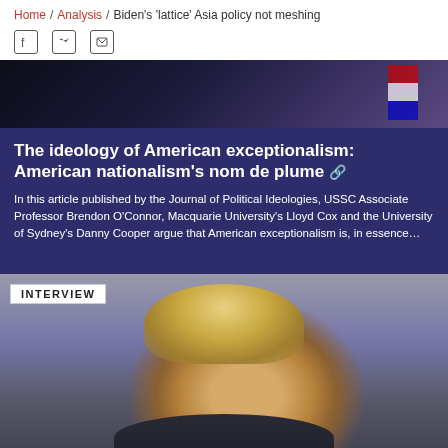Home / Analysis / Biden's 'lattice' Asia policy not meshing
[Figure (photo): Social media share icons: Facebook, Twitter, Email]
[Figure (photo): Dark blue background photo, partially visible figures and flag]
The ideology of American exceptionalism: American nationalism's nom de plume 🔗
In this article published by the Journal of Political Ideologies, USSC Associate Professor Brendon O'Connor, Macquarie University's Lloyd Cox and the University of Sydney's Danny Cooper argue that American exceptionalism is, in essence…
[Figure (photo): Photo of Donald Trump seated, with INTERVIEW label overlay, blue and gold background elements]